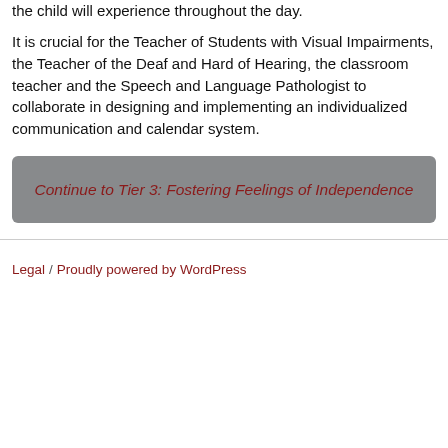the child will experience throughout the day.
It is crucial for the Teacher of Students with Visual Impairments, the Teacher of the Deaf and Hard of Hearing, the classroom teacher and the Speech and Language Pathologist to collaborate in designing and implementing an individualized communication and calendar system.
Continue to Tier 3: Fostering Feelings of Independence
Legal / Proudly powered by WordPress